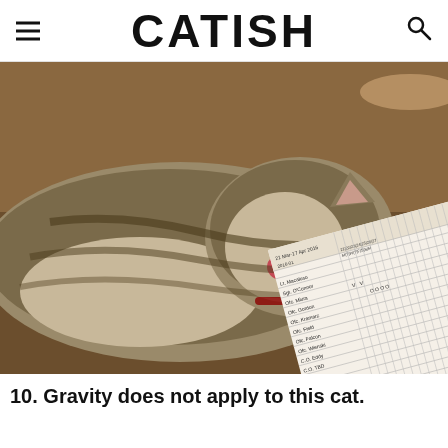CATISH
[Figure (photo): A tabby cat lying on its side with its face down on what appears to be a brown surface, while a paper schedule/roster document is visible beneath the cat showing personnel names and attendance marks in a grid format.]
10. Gravity does not apply to this cat.